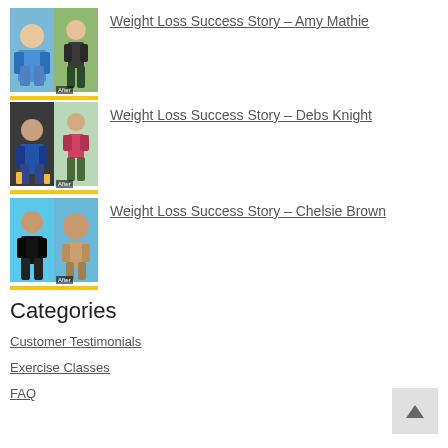Weight Loss Success Story – Amy Mathie
Weight Loss Success Story – Debs Knight
Weight Loss Success Story – Chelsie Brown
Categories
Customer Testimonials
Exercise Classes
FAQ